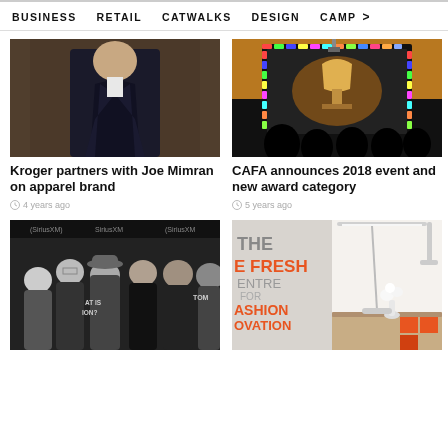BUSINESS   RETAIL   CATWALKS   DESIGN   CAMP >
[Figure (photo): Man in dark suit with blue tie against brick wall background]
Kroger partners with Joe Mimran on apparel brand
4 years ago
[Figure (photo): CAFA event stage with illuminated frame and audience silhouettes]
CAFA announces 2018 event and new award category
5 years ago
[Figure (photo): Black and white photo of group at SiriusXM event, people wearing hats and casual clothes]
[Figure (photo): The Fresh Centre for Fashion Innovation interior with orange accents, white orchid and desk]